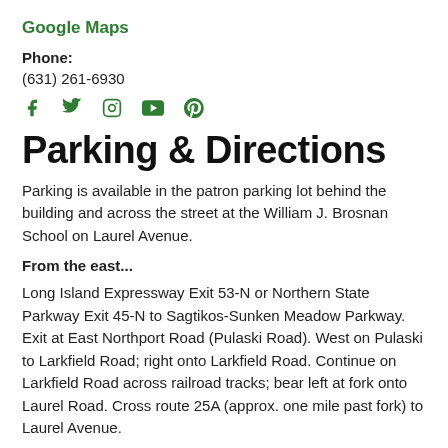Google Maps
Phone:
(631) 261-6930
[Figure (illustration): Social media icons: Facebook, Twitter, Instagram, YouTube, Pinterest in green]
Parking & Directions
Parking is available in the patron parking lot behind the building and across the street at the William J. Brosnan School on Laurel Avenue.
From the east...
Long Island Expressway Exit 53-N or Northern State Parkway Exit 45-N to Sagtikos-Sunken Meadow Parkway. Exit at East Northport Road (Pulaski Road). West on Pulaski to Larkfield Road; right onto Larkfield Road. Continue on Larkfield Road across railroad tracks; bear left at fork onto Laurel Road. Cross route 25A (approx. one mile past fork) to Laurel Avenue.